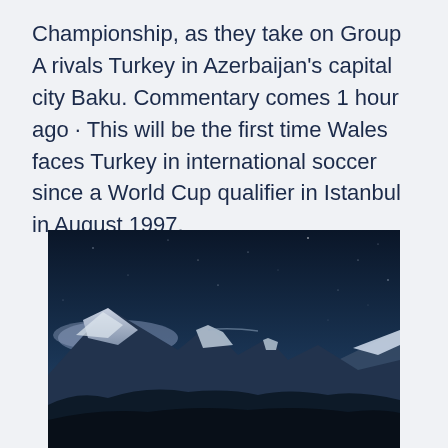Championship, as they take on Group A rivals Turkey in Azerbaijan's capital city Baku. Commentary comes 1 hour ago · This will be the first time Wales faces Turkey in international soccer since a World Cup qualifier in Istanbul in August 1997.
[Figure (photo): Night or dusk photograph of snow-capped mountain peaks under a dark blue starry sky, with dark forested slopes in the foreground.]